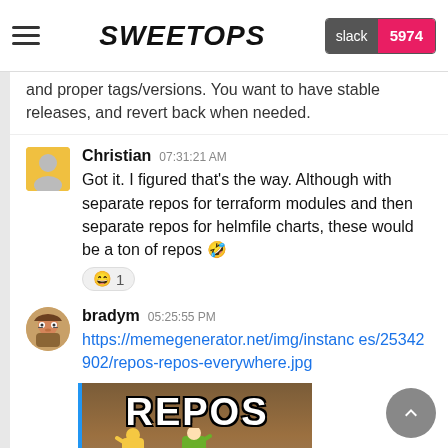SweetOps | slack 5974
and proper tags/versions. You want to have stable releases, and revert back when needed.
Christian 07:31:21 AM
Got it. I figured that's the way. Although with separate repos for terraform modules and then separate repos for helmfile charts, these would be a ton of repos 🤣
😄 1
bradym 05:25:55 PM
https://memegenerator.net/img/instances/25342902/repos-repos-everywhere.jpg
[Figure (photo): Meme image showing the text REPOS at the top, with figures below (Toy Story 'Everywhere' meme format). Blue left border accent.]